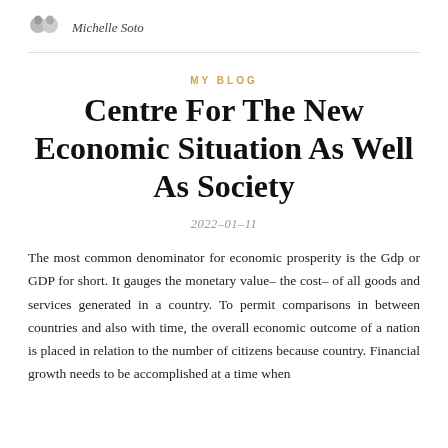Michelle Soto
MY BLOG
Centre For The New Economic Situation As Well As Society
2022-01-11
The most common denominator for economic prosperity is the Gdp or GDP for short. It gauges the monetary value– the cost– of all goods and services generated in a country. To permit comparisons in between countries and also with time, the overall economic outcome of a nation is placed in relation to the number of citizens because country. Financial growth needs to be accomplished at a time when